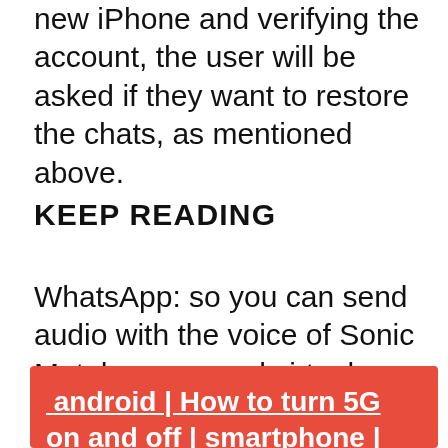new iPhone and verifying the account, the user will be asked if they want to restore the chats, as mentioned above.
KEEP READING
WhatsApp: so you can send audio with the voice of Sonic Metahumans and virtual reality to be part of a new digital world How is the Argentine project to convert garbage into bitcoins
android | How to turn 5G on and off | smartphone | iPhone | Red mobile | 4G | cell phones | nothing | nnni | SPORT-PLAY